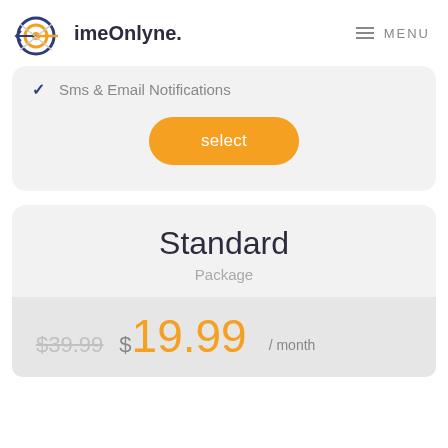imeOnlyne.   MENU
✔  Sms & Email Notifications
select
Standard
Package
$39.99  $19.99 / month